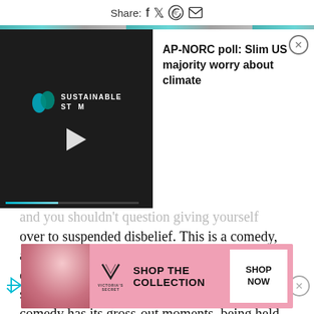Share: [facebook] [twitter] [whatsapp] [email]
[Figure (screenshot): Video player panel with Sustainable Stream logo and play button on dark background, with AP-NORC poll news notification overlay on right side reading: AP-NORC poll: Slim US majority worry about climate]
and you shouldn't question giving yourself over to suspended disbelief. This is a comedy, after all, and doesn't ask you to take the actual day to day politics earnestly, but just the sentiment behind them. Levine's romantic comedy has its gross-out moments, being held together by the leads that give the film some unexpected heart.
[Figure (photo): Victoria's Secret advertisement banner with woman model photo on pink background, VS logo, text: SHOP THE COLLECTION, and SHOP NOW button]